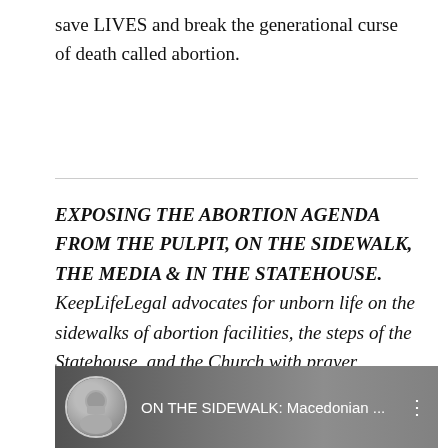save LIVES and break the generational curse of death called abortion.
EXPOSING THE ABORTION AGENDA FROM THE PULPIT, ON THE SIDEWALK, THE MEDIA & IN THE STATEHOUSE. KeepLifeLegal advocates for unborn life on the sidewalks of abortion facilities, the steps of the Statehouse, and the Church with prayer, community outreach, and real LIFE supporting options.
[Figure (screenshot): Video thumbnail showing a woman with glasses and the text 'ON THE SIDEWALK: Macedonian ...']